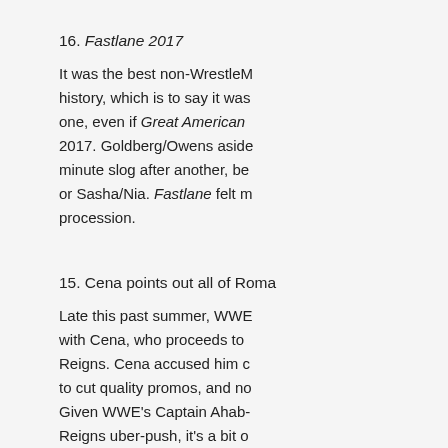16. Fastlane 2017
It was the best non-WrestleM history, which is to say it was one, even if Great American 2017. Goldberg/Owens aside minute slog after another, be or Sasha/Nia. Fastlane felt m procession.
15. Cena points out all of Roma
Late this past summer, WWE with Cena, who proceeds to Reigns. Cena accused him c to cut quality promos, and no Given WWE's Captain Ahab- Reigns uber-push, it's a bit o agree, he's mightily flawed,"